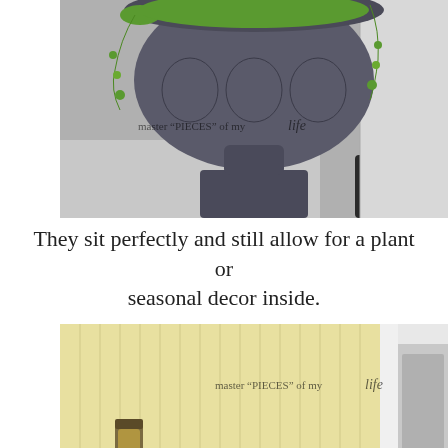[Figure (photo): Close-up photo of a decorative dark grey stone/concrete urn planter with embossed floral patterns, sitting on a pedestal. Green trailing plants visible at the rim. A rubber mat and siding visible in the background. Watermark reads: master "PIECES" of my life.]
They sit perfectly and still allow for a plant or seasonal decor inside.
[Figure (photo): Photo of a yellow beadboard porch wall with a wall-mounted lantern light on the left, a small climbing plant at the bottom left, and a rustic wooden crate/shutter frame with a twig wreath hanging on the wall center-right. A white door frame visible on the right. Watermark reads: master "PIECES" of my life.]